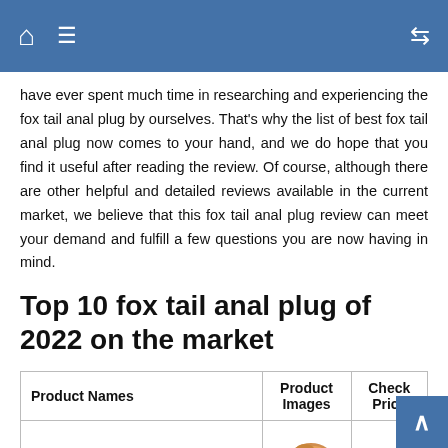Navigation bar with home, menu, and shuffle icons
have ever spent much time in researching and experiencing the fox tail anal plug by ourselves. That's why the list of best fox tail anal plug now comes to your hand, and we do hope that you find it useful after reading the review. Of course, although there are other helpful and detailed reviews available in the current market, we believe that this fox tail anal plug review can meet your demand and fulfill a few questions you are now having in mind.
Top 10 fox tail anal plug of 2022 on the market
| Product Names | Product Images | Check Price |
| --- | --- | --- |
| #1 ABBY-J Artificial Hair Plush Hairpin | [image] | View |